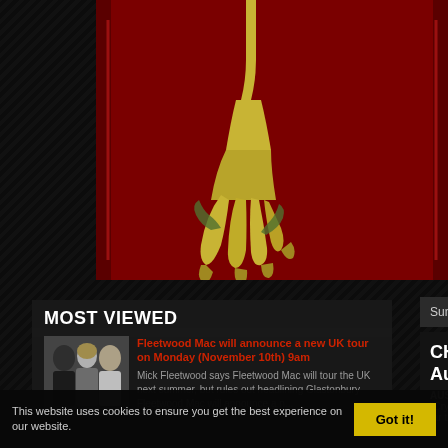[Figure (illustration): Dark red background with golden illustrated claw/talon figure, appears to be an album or website header image — Fleetwood Mac related]
MOST VIEWED
[Figure (photo): Thumbnail photo of three people — Fleetwood Mac band members]
Fleetwood Mac will announce a new UK tour on Monday (November 10th) 9am
Mick Fleetwood says Fleetwood Mac will tour the UK next summer, but rules out headlining Glastonbury Fleetwood Mac will announce a n...
Sunday, August 29, 2010
CHART UPDATE August 30, 2010
AUSTRALIA'S TOP 50 C... "Crystal Visions The Very... far the compilation has lo...
This website uses cookies to ensure you get the best experience on our website.